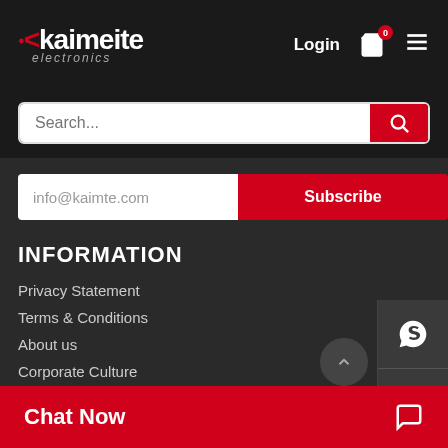Kaimeite electronics — Login, Cart (0), Menu
Search...
info@kaimte.com
Subscribe
INFORMATION
Privacy Statement
Terms & Conditions
About us
Corporate Culture
Sitemap
Chat Now